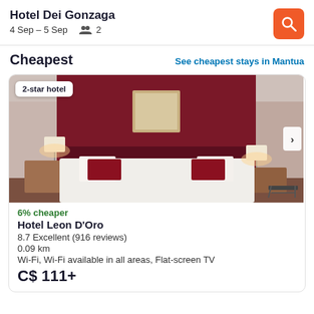Hotel Dei Gonzaga
4 Sep – 5 Sep   👥 2
Cheapest
See cheapest stays in Mantua
[Figure (photo): Hotel room with dark red/maroon accent wall, double bed with red and white pillows, two wall lamps, nightstands on each side. Badge reading '2-star hotel' in top left corner. Navigation arrow on right side.]
6% cheaper
Hotel Leon D'Oro
8.7 Excellent (916 reviews)
0.09 km
Wi-Fi, Wi-Fi available in all areas, Flat-screen TV
C$ 111+